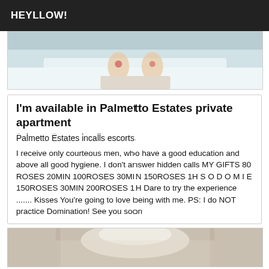HEYLLOW!
[Figure (photo): Photo of a person lying on a bed, feet visible against white sheets]
I'm available in Palmetto Estates private apartment
Palmetto Estates incalls escorts
I receive only courteous men, who have a good education and above all good hygiene. I don't answer hidden calls MY GIFTS 80 ROSES 20MIN 100ROSES 30MIN 150ROSES 1H S O D O M I E 150ROSES 30MIN 200ROSES 1H Dare to try the experience ....... Kisses You're going to love being with me. PS: I do NOT practice Domination! See you soon
[Figure (photo): Photo showing a person with light/white hair, partial view]